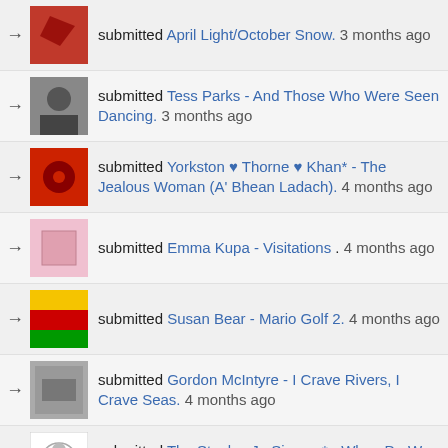submitted April Light/October Snow. 3 months ago
submitted Tess Parks - And Those Who Were Seen Dancing. 3 months ago
submitted Yorkston ♥ Thorne ♥ Khan* - The Jealous Woman (A' Bhean Ladach). 4 months ago
submitted Emma Kupa - Visitations . 4 months ago
submitted Susan Bear - Mario Golf 2. 4 months ago
submitted Gordon McIntyre - I Crave Rivers, I Crave Seas. 4 months ago
submitted The Staples Jr. Singers* - When Do We Get Paid. 4 months ago
submitted Various - Theppabutr Productions: The Man Behind The Molam Sound 1972-75. 4 months ago
submitted Sharon Van Etten - We've Been Going About This All Wrong. 4 months ago
submitted Various - Younger Than Yesterday (16 Tracks Inspired By The Genius Of The Byrds). 4 months ago
submitted Dana Gavanski - When It Comes. 4 months